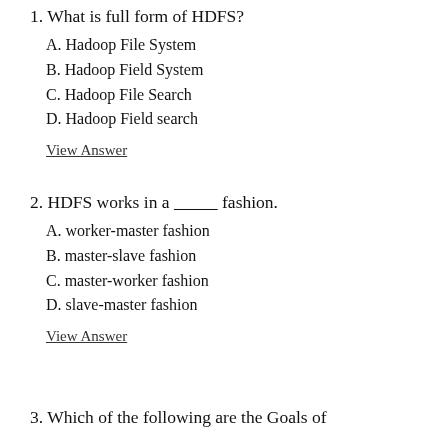1. What is full form of HDFS?
A. Hadoop File System
B. Hadoop Field System
C. Hadoop File Search
D. Hadoop Field search
View Answer
2. HDFS works in a __________ fashion.
A. worker-master fashion
B. master-slave fashion
C. master-worker fashion
D. slave-master fashion
View Answer
3. Which of the following are the Goals of